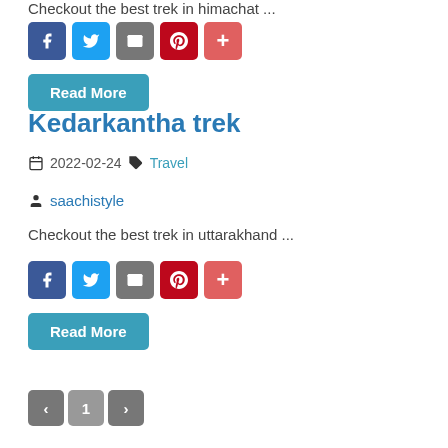Checkout the best trek in himachal ...
[Figure (other): Social share buttons: Facebook, Twitter, Email, Pinterest, Plus]
Read More
Kedarkantha trek
2022-02-24  Travel
saachistyle
Checkout the best trek in uttarakhand ...
[Figure (other): Social share buttons: Facebook, Twitter, Email, Pinterest, Plus]
Read More
Pagination: prev, 1, next